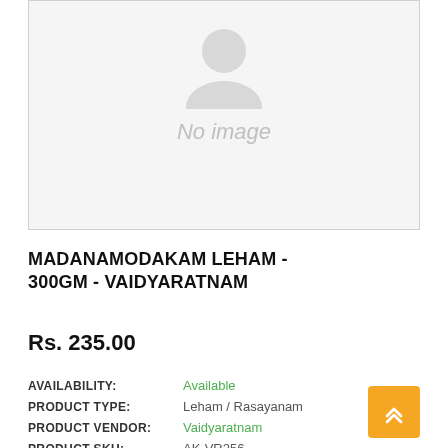[Figure (illustration): No image placeholder with a grey user/person silhouette icon and the text 'No image' in grey italic]
MADANAMODAKAM LEHAM - 300GM - VAIDYARATNAM
Rs. 235.00
| Field | Value |
| --- | --- |
| AVAILABILITY: | Available |
| PRODUCT TYPE: | Leham / Rasayanam |
| PRODUCT VENDOR: | Vaidyaratnam |
| PRODUCT SKU: | AK-VR256 |